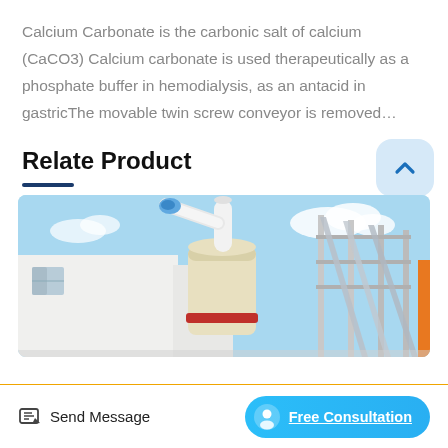Calcium Carbonate is the carbonic salt of calcium (CaCO3) Calcium carbonate is used therapeutically as a phosphate buffer in hemodialysis, as an antacid in gastricThe movable twin screw conveyor is removed…
Relate Product
[Figure (photo): Industrial milling or grinding machinery with large cylindrical vessel, pipes, and metal frame structures outside a white building under blue sky.]
Send Message
Free Consultation